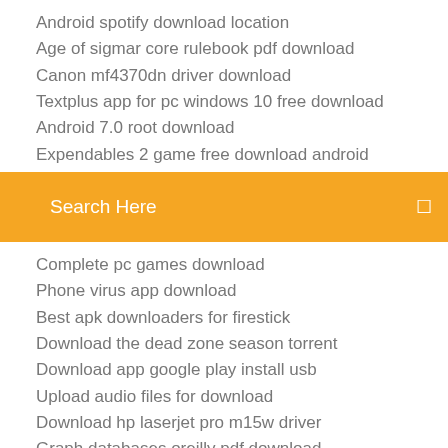Android spotify download location
Age of sigmar core rulebook pdf download
Canon mf4370dn driver download
Textplus app for pc windows 10 free download
Android 7.0 root download
Expendables 2 game free download android
[Figure (screenshot): Orange search bar with text 'Search Here' and a search icon on the right]
Complete pc games download
Phone virus app download
Best apk downloaders for firestick
Download the dead zone season torrent
Download app google play install usb
Upload audio files for download
Download hp laserjet pro m15w driver
Graph databases oreilly pdf download
How to download cities skylines mods
Download hp laserjet pro m15w driver